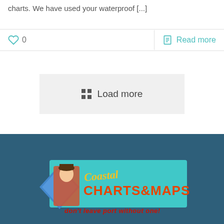charts. We have used your waterproof [...]
0
Read more
Load more
[Figure (logo): Coastal Charts & Maps logo on teal background with text 'don't leave port without one!']